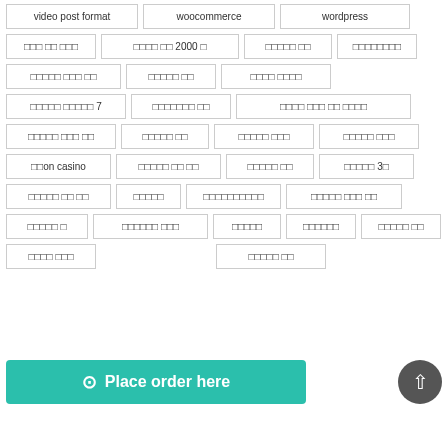video post format
woocommerce
wordpress
□□□ □□ □□□
□□□□ □□ 2000 □
□□□□□ □□
□□□□□□□□
□□□□□ □□□ □□
□□□□□ □□
□□□□ □□□□
□□□□□ □□□□□ 7
□□□□□□□ □□
□□□□ □□□ □□ □□□□
□□□□□ □□□ □□
□□□□□ □□
□□□□□ □□□
□□□□□ □□□
□□on casino
□□□□□ □□ □□
□□□□□ □□
□□□□□ 3□
□□□□□ □□ □□
□□□□□
□□□□□□□□□□
□□□□□ □□□ □□
□□□□□ □
□□□□□□ □□□
□□□□□
□□□□□□
□□□□□ □□
□□□□ □□□
□□□□□ □□